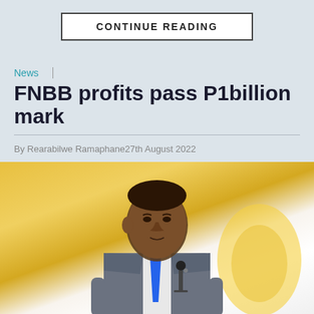CONTINUE READING
News
FNBB profits pass P1billion mark
By Rearabilwe Ramaphane27th August 2022
[Figure (photo): A man in a grey suit and blue tie speaking at a podium with a microphone, against a yellow and white background]